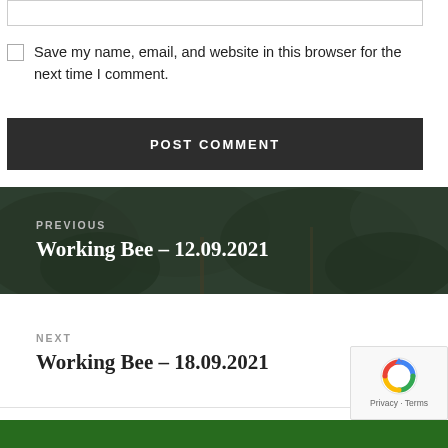Save my name, email, and website in this browser for the next time I comment.
POST COMMENT
PREVIOUS
Working Bee – 12.09.2021
NEXT
Working Bee – 18.09.2021
Proudly powered by WordPress